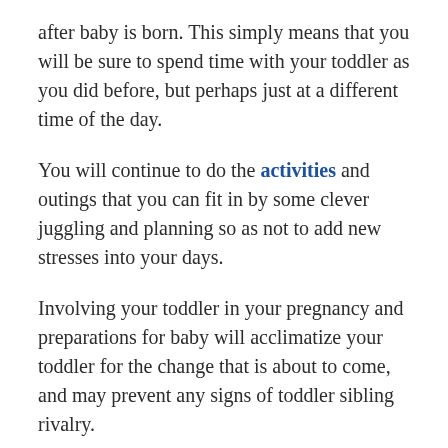after baby is born. This simply means that you will be sure to spend time with your toddler as you did before, but perhaps just at a different time of the day.
You will continue to do the activities and outings that you can fit in by some clever juggling and planning so as not to add new stresses into your days.
Involving your toddler in your pregnancy and preparations for baby will acclimatize your toddler for the change that is about to come, and may prevent any signs of toddler sibling rivalry.
Once baby is here, hospital visits (if you do not home birth) are a good time to transition your toddler. We had a little gift waiting for our toddlers at the hospital which was a baby doll with a change of clothes. (Yes, boys and girls got a baby doll in our home.)